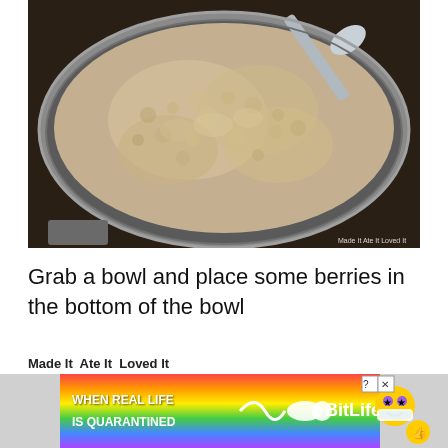[Figure (photo): A close-up photo of cooked oatmeal in a large metal pot/bowl with a spoon resting in it. The oatmeal appears thick and creamy. A watermark in the bottom-right reads 'Made It Ate It Loved It'.]
Grab a bowl and place some berries in the bottom of the bowl
Made It  Ate It  Loved It
[Figure (infographic): Advertisement banner for BitLife game. Rainbow gradient background. Text reads 'WHEN REAL LIFE IS QUARANTINED' with BitLife logo and cartoon emoji face characters. Has a close/help button in top right.]